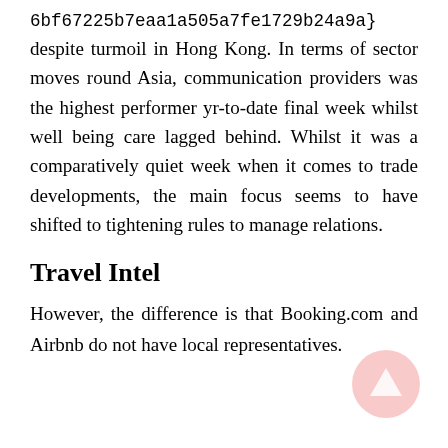6bf67225b7eaa1a505a7fe1729b24a9a}
despite turmoil in Hong Kong. In terms of sector moves round Asia, communication providers was the highest performer yr-to-date final week whilst well being care lagged behind. Whilst it was a comparatively quiet week when it comes to trade developments, the main focus seems to have shifted to tightening rules to manage relations.
Travel Intel
However, the difference is that Booking.com and Airbnb do not have local representatives.